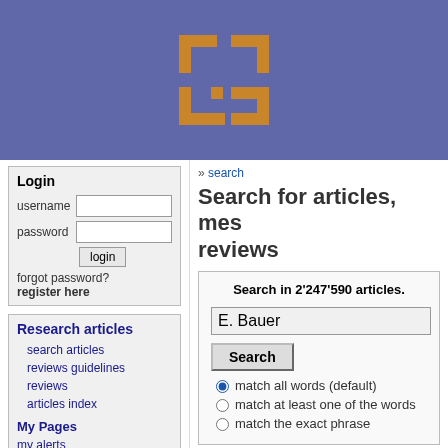[Figure (logo): Orange and tan pixelated bracket/logo icon on purple/blue header background]
Login
username [text input] password [password input] login button forgot password? register here
Research articles
search articles
reviews guidelines
reviews
articles index
My Pages
my alerts
my messages
my reviews
my favorites
» search
Search for articles, mes reviews
Search in 2'247'590 articles.
E. Bauer
Search
match all words (default)
match at least one of the words
match the exact phrase
Results 1 to 20 of 1'892 for query "E. Bauer". (0.00 s
[ 1 2 3 4 5 10 ] Next ▶
1